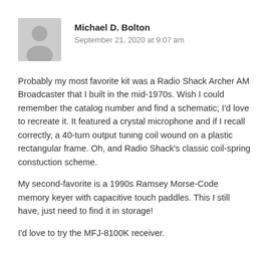[Figure (illustration): Gray circular avatar placeholder icon showing a silhouette of a person]
Michael D. Bolton
September 21, 2020 at 9:07 am
Probably my most favorite kit was a Radio Shack Archer AM Broadcaster that I built in the mid-1970s. Wish I could remember the catalog number and find a schematic; I'd love to recreate it. It featured a crystal microphone and if I recall correctly, a 40-turn output tuning coil wound on a plastic rectangular frame. Oh, and Radio Shack's classic coil-spring constuction scheme.
My second-favorite is a 1990s Ramsey Morse-Code memory keyer with capacitive touch paddles. This I still have, just need to find it in storage!
I'd love to try the MFJ-8100K receiver.